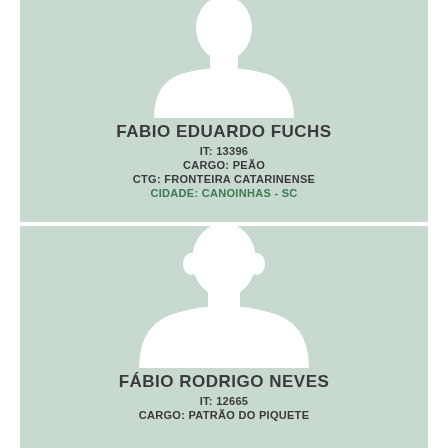[Figure (illustration): Silhouette placeholder image of a person (head and shoulders) on a light green/sage background for first ID card]
FABIO EDUARDO FUCHS
IT: 13396
CARGO: PEÃO
CTG: FRONTEIRA CATARINENSE
CIDADE: CANOINHAS - SC
[Figure (illustration): Silhouette placeholder image of a person (head and shoulders) on a light green/sage background for second ID card]
FÁBIO RODRIGO NEVES
IT: 12665
CARGO: PATRÃO DO PIQUETE